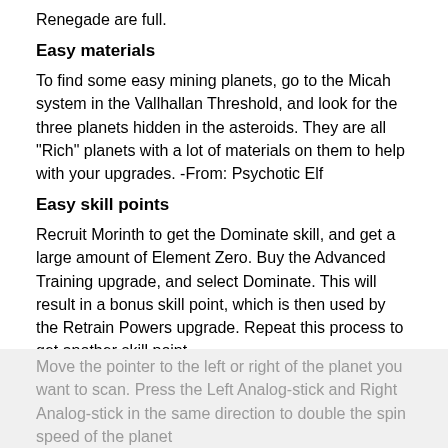Renegade are full.
Easy materials
To find some easy mining planets, go to the Micah system in the Vallhallan Threshold, and look for the three planets hidden in the asteroids. They are all "Rich" planets with a lot of materials on them to help with your upgrades. -From: Psychotic Elf
Easy skill points
Recruit Morinth to get the Dominate skill, and get a large amount of Element Zero. Buy the Advanced Training upgrade, and select Dominate. This will result in a bonus skill point, which is then used by the Retrain Powers upgrade. Repeat this process to get another skill point.
Quicker scanning for mining
While scanning a planet, do not hold LT. Instead, rapidly tap LT until you see a blip on the scanner. Then, go back over the area while holding LT to find the best location to send the probe.
Move the pointer to the left or right of the planet you want to scan. Press the Left Analog-stick and Right Analog-stick in the same direction to double the spin speed of the planet